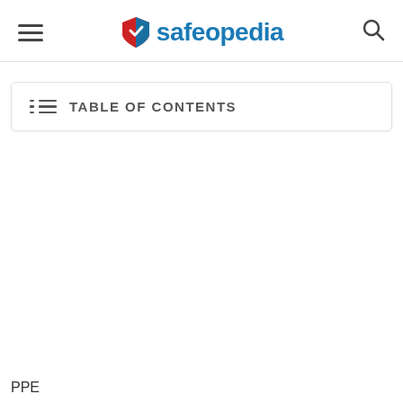safeopedia
TABLE OF CONTENTS
PPE